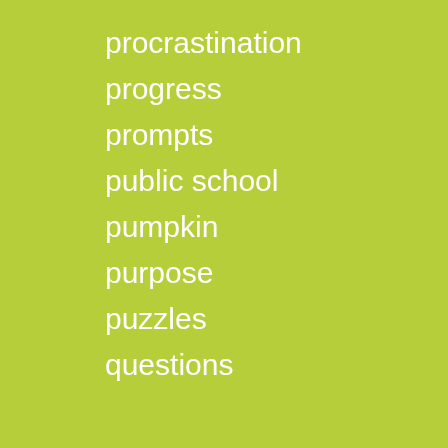procrastination
progress
prompts
public school
pumpkin
purpose
puzzles
questions